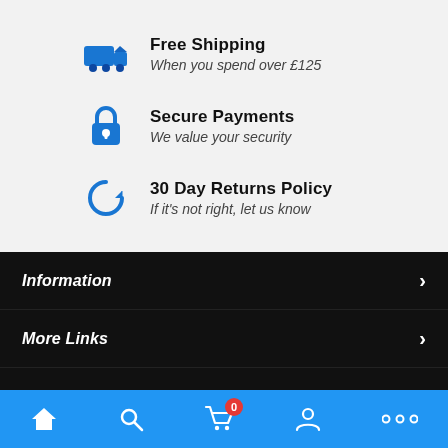Free Shipping — When you spend over £125
Secure Payments — We value your security
30 Day Returns Policy — If it's not right, let us know
Information
More Links
Contact Us
Subscribe Us
Home | Search | Cart (0) | Account | More